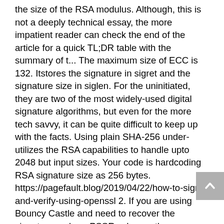the size of the RSA modulus. Although, this is not a deeply technical essay, the more impatient reader can check the end of the article for a quick TL;DR table with the summary of t... The maximum size of ECC is 132. Itstores the signature in sigret and the signature size in siglen. For the uninitiated, they are two of the most widely-used digital signature algorithms, but even for the more tech savvy, it can be quite difficult to keep up with the facts. Using plain SHA-256 under-utilizes the RSA capabilities to handle upto 2048 but input sizes. Your code is hardcoding RSA signature size as 256 bytes. https://pagefault.blog/2019/04/22/how-to-sign-and-verify-using-openssl 2. If you are using Bouncy Castle and need to recover the signature under a PSSR scheme, then see Iso9796d2PssSigner class in the Org.BouncyCastle.Crypto.Signers namespace. Practice test for UGC NET Computer Science Paper. When compared with DSA (which we will cover in the next section), RSA is faster at verifying signatures, but slower at generating them. The signature is 1024-bit integer (128 bytes, 256 hex digits). That is, neither the modulus or the hash is significantly weaker than the other. The MD2 and MD5 variants of RSASSA_PKCS1v15_Signer and